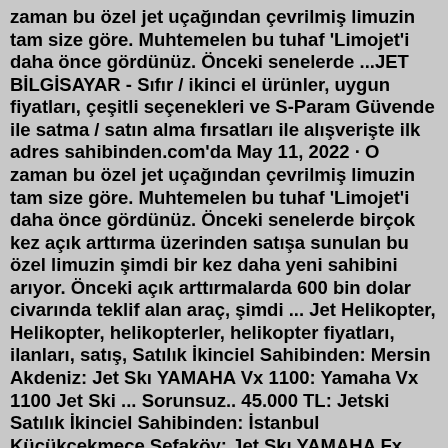zaman bu özel jet uçağından çevrilmiş limuzin tam size göre. Muhtemelen bu tuhaf 'Limojet'i daha önce gördünüz. Önceki senelerde ...JET BİLGİSAYAR - Sıfır / ikinci el ürünler, uygun fiyatları, çeşitli seçenekleri ve S-Param Güvende ile satma / satın alma fırsatları ile alışverişte ilk adres sahibinden.com'da May 11, 2022 · O zaman bu özel jet uçağından çevrilmiş limuzin tam size göre. Muhtemelen bu tuhaf 'Limojet'i daha önce gördünüz. Önceki senelerde birçok kez açık arttırma üzerinden satışa sunulan bu özel limuzin şimdi bir kez daha yeni sahibini arıyor. Önceki açık arttırmalarda 600 bin dolar civarında teklif alan araç, şimdi ... Jet Helikopter, Helikopter, helikopterler, helikopter fiyatları, ilanları, satış, Satılık İkinciel Sahibinden: Mersin Akdeniz: Jet Skı YAMAHA Vx 1100: Yamaha Vx 1100 Jet Ski ... Sorunsuz.. 45.000 TL: Jetski Satılık İkinciel Sahibinden: İstanbul Küçükçekmece Sefaköy: Jet Skı YAMAHA Fx Cruıser Hıgh Output: Yamaha Jet Skı Fx Cruıser Hıgh Output: 145.000 TL: Jetski Satılık İkinciel Sahibinden: Çanakkale